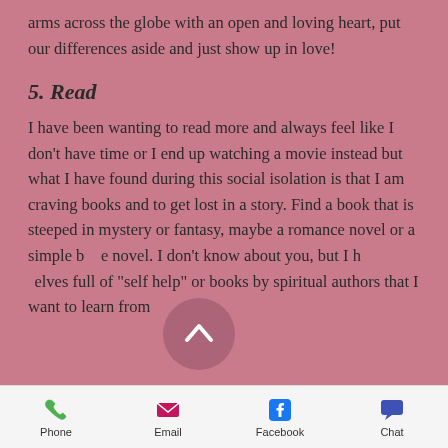arms across the globe with an open and loving heart, put our differences aside and just show up in love!
5. Read
I have been wanting to read more and always feel like I don't have time or I end up watching a movie instead but what I have found during this social isolation is that I am craving books and to get lost in a story. Find a book that is steeped in mystery or fantasy, maybe a romance novel or a simple b...e novel. I don't know about you, but I h...helves full of "self help" or books by spiritual authors that I want to learn from
Phone  Email  Facebook  Chat